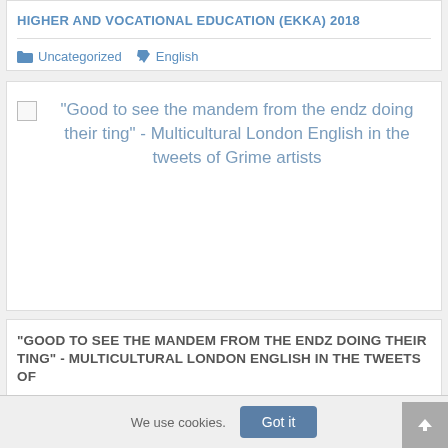HIGHER AND VOCATIONAL EDUCATION (EKKA) 2018
Uncategorized   English
[Figure (illustration): Broken image placeholder followed by article title: "Good to see the mandem from the endz doing their ting" - Multicultural London English in the tweets of Grime artists]
"GOOD TO SEE THE MANDEM FROM THE ENDZ DOING THEIR TING" - MULTICULTURAL LONDON ENGLISH IN THE TWEETS OF
We use cookies.
Got it